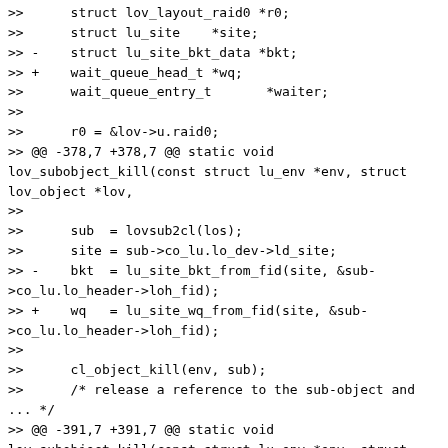>>      struct lov_layout_raid0 *r0;
>>      struct lu_site    *site;
>> -    struct lu_site_bkt_data *bkt;
>> +    wait_queue_head_t *wq;
>>      wait_queue_entry_t       *waiter;
>>
>>      r0 = &lov->u.raid0;
>> @@ -378,7 +378,7 @@ static void lov_subobject_kill(const struct lu_env *env, struct lov_object *lov,
>>
>>      sub  = lovsub2cl(los);
>>      site = sub->co_lu.lo_dev->ld_site;
>> -    bkt  = lu_site_bkt_from_fid(site, &sub->co_lu.lo_header->loh_fid);
>> +    wq   = lu_site_wq_from_fid(site, &sub->co_lu.lo_header->loh_fid);
>>
>>      cl_object_kill(env, sub);
>>      /* release a reference to the sub-object and ... */
>> @@ -391,7 +391,7 @@ static void lov_subobject_kill(const struct lu_env *env, struct lov_object *lov,
>>      if (r0->lo_sub[idx] == los) {
>>              waiter = &lov_env_info(env)->lti_waiter;
>>              init_waitqueue_entry(waiter, current);
>> -             add_wait_queue(&bkt->lsb_marche_funebre, waiter);